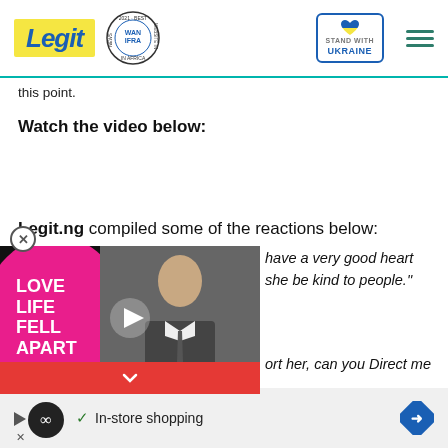Legit | WAN IFRA 2021 Best News Website in Africa | Stand With Ukraine
this point.
Watch the video below:
Legit.ng compiled some of the reactions below:
Miss A J B said:
[Figure (screenshot): Video player overlay showing 'Love Life Fell Apart' text with pink blob design on left, a man in suit on right, play button in center, and red close bar at bottom]
have a very good heart she be kind to people."
ort her, can you Direct me
[Figure (infographic): Advertisement bar at bottom: circular icon, checkmark, 'In-store shopping' text, blue diamond arrow]
✓ In-store shopping